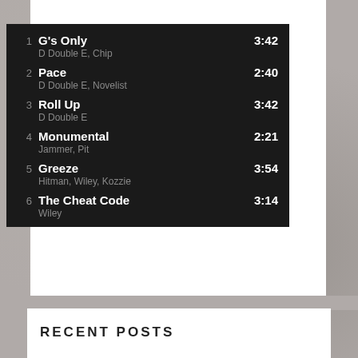| # | Title / Artist | Duration |
| --- | --- | --- |
| 1 | G's Only
D Double E, Chip | 3:42 |
| 2 | Pace
D Double E, Novelist | 2:40 |
| 3 | Roll Up
D Double E | 3:42 |
| 4 | Monumental
Jammer, Pit | 2:21 |
| 5 | Greeze
Hitman, Wiley, Kozzie | 3:54 |
| 6 | The Cheat Code
Wiley | 3:14 |
RECENT POSTS